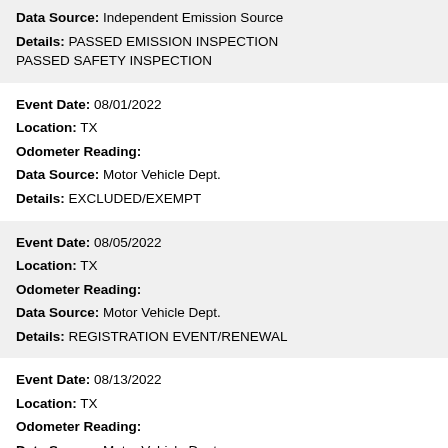Data Source: Independent Emission Source
Details: PASSED EMISSION INSPECTION
PASSED SAFETY INSPECTION
Event Date: 08/01/2022
Location: TX
Odometer Reading:
Data Source: Motor Vehicle Dept.
Details: EXCLUDED/EXEMPT
Event Date: 08/05/2022
Location: TX
Odometer Reading:
Data Source: Motor Vehicle Dept.
Details: REGISTRATION EVENT/RENEWAL
Event Date: 08/13/2022
Location: TX
Odometer Reading:
Data Source: Motor Vehicle Dept.
Details: TITLE(Title #:22043444776090621)